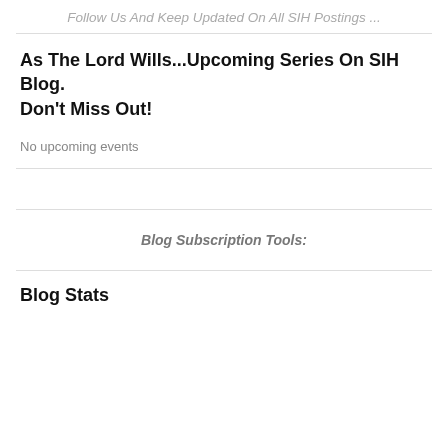Follow Us And Keep Updated On All SIH Postings ...
As The Lord Wills...Upcoming Series On SIH Blog. Don't Miss Out!
No upcoming events
Blog Subscription Tools:
Blog Stats